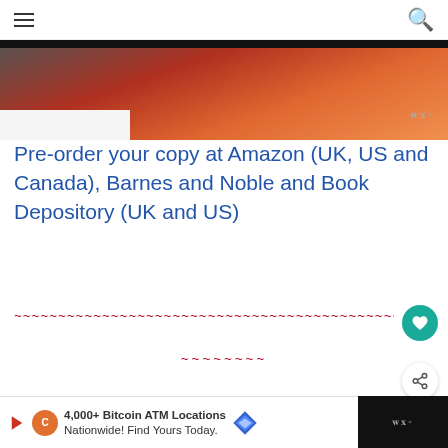≡  🔍
[Figure (photo): Partial photo of a food or book cover image with warm orange-red gradient tones visible at the top of the page]
Pre-order your copy at Amazon (UK, US and Canada), Barnes and Noble and Book Depository (UK and US)
~~~~~~~~~~~~~~~~~~~~~~~~~~~~~~~~~~~~~~~~~~~~~~~~~~~~~~~~
~~~~~~~~
Let's welcome Leemei with her mouthwatering Malaysian- Thai Chicken Curry